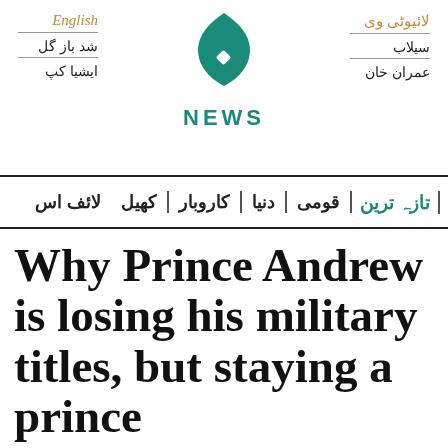English | لائیوٹی وی | شد باز گل | سیلاب | ایشیا کپ | عمران خان
[Figure (logo): Aaj News logo: teal flame/leaf icon above the word NEWS in teal bold letters]
تازہ ترین | قومی | دنیا | کاروبار | کھیل | لائف اس
Why Prince Andrew is losing his military titles, but staying a prince